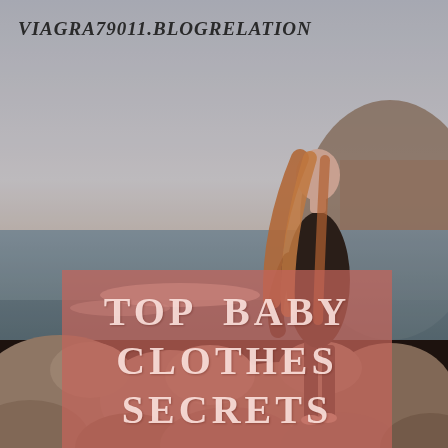[Figure (photo): A woman with long red-brown hair, wearing a dark dress, standing on a rocky beach looking out toward a blue sea and mountains in the background. The image has a warm, vintage-toned filter.]
VIAGRA79011.BLOGRELATION
TOP BABY CLOTHES SECRETS